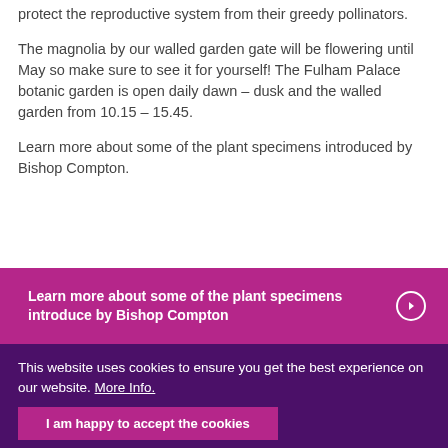protect the reproductive system from their greedy pollinators.
The magnolia by our walled garden gate will be flowering until May so make sure to see it for yourself! The Fulham Palace botanic garden is open daily dawn – dusk and the walled garden from 10.15 – 15.45.
Learn more about some of the plant specimens introduced by Bishop Compton.
[Figure (infographic): Purple/magenta banner with white bold text: 'Learn more about some of the plant specimens introduce by Bishop Compton' and a white circle arrow button on the right]
This website uses cookies to ensure you get the best experience on our website. More Info.
I am happy to accept the cookies